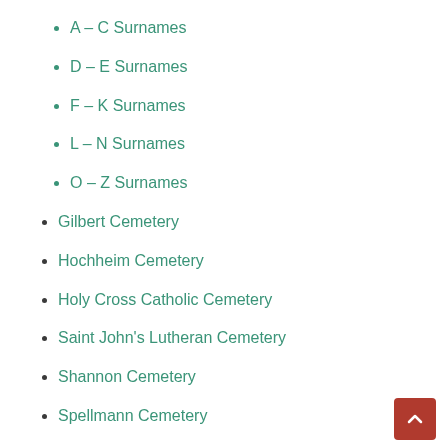A – C Surnames
D – E Surnames
F – K Surnames
L – N Surnames
O – Z Surnames
Gilbert Cemetery
Hochheim Cemetery
Holy Cross Catholic Cemetery
Saint John's Lutheran Cemetery
Shannon Cemetery
Spellmann Cemetery
Westoff Cemetery
Westside Cemetery